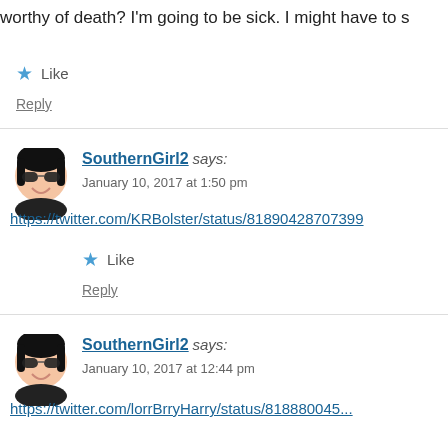worthy of death? I'm going to be sick. I might have to s
Like
Reply
SouthernGirl2 says:
January 10, 2017 at 1:50 pm
https://twitter.com/KRBolster/status/81890428707399...
Like
Reply
SouthernGirl2 says:
January 10, 2017 at 12:44 pm
https://twitter.com/lorrBrryHarry/status/818880045...